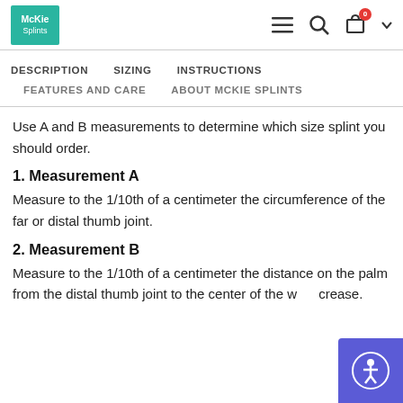McKie Splints
DESCRIPTION   SIZING   INSTRUCTIONS
FEATURES AND CARE   ABOUT MCKIE SPLINTS
Use A and B measurements to determine which size splint you should order.
1. Measurement A
Measure to the 1/10th of a centimeter the circumference of the far or distal thumb joint.
2. Measurement B
Measure to the 1/10th of a centimeter the distance on the palm from the distal thumb joint to the center of the wrist crease.